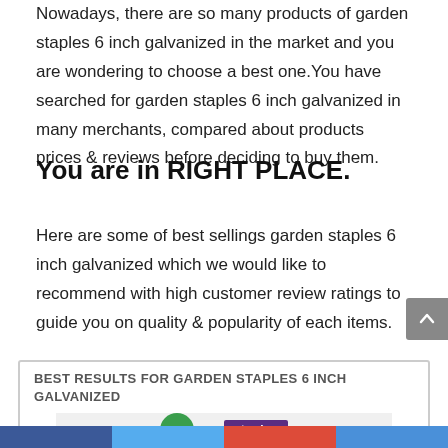Nowadays, there are so many products of garden staples 6 inch galvanized in the market and you are wondering to choose a best one.You have searched for garden staples 6 inch galvanized in many merchants, compared about products prices & reviews before deciding to buy them.
You are in RIGHT PLACE.
Here are some of best sellings garden staples 6 inch galvanized which we would like to recommend with high customer review ratings to guide you on quality & popularity of each items.
BEST RESULTS FOR GARDEN STAPLES 6 INCH GALVANIZED
[Figure (photo): Product image area showing a green circle and a Staples branded box product]
Social share bar with dark blue, light blue, red, and blue segments